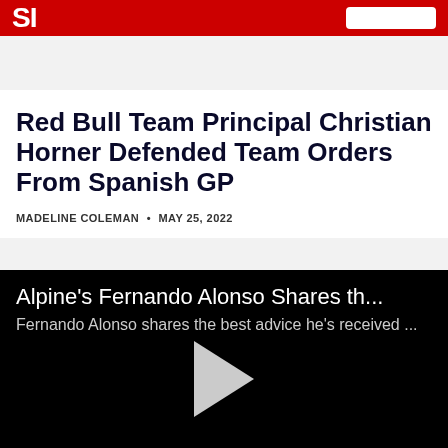SI
Red Bull Team Principal Christian Horner Defended Team Orders From Spanish GP
MADELINE COLEMAN • MAY 25, 2022
[Figure (screenshot): Video player with title: Alpine's Fernando Alonso Shares th... and subtitle: Fernando Alonso shares the best advice he's received ... with a play button in the center]